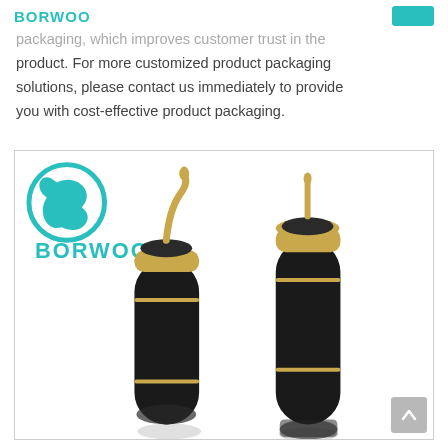BORWOO
packaging, which improves customer trust in the product. For more customized product packaging solutions, please contact us immediately to provide you with cost-effective product packaging.
[Figure (photo): Product photo showing two black cylindrical tube containers with gold accents and caps open, with a Borwoo logo in teal visible in the upper left of the image.]